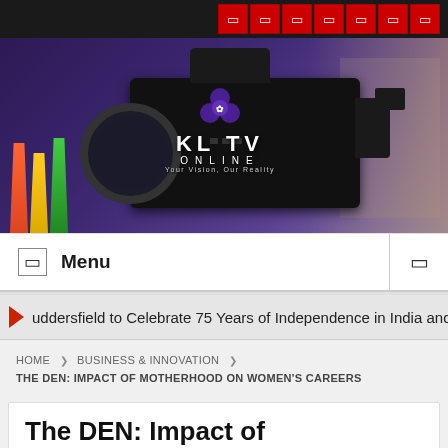[Figure (screenshot): KLTV Online website header with dark top bar containing social media icons in red, a hero banner with a professional video camera and KLTV Online logo overlay with purple flower emblem, navigation menu bar with Menu text and hamburger icon, scrolling ticker showing news headline, breadcrumb navigation, and article title card.]
KLTV ONLINE — Your Vision, Our Reality
Menu
uddersfield to Celebrate 75 Years of Independence in India and Pa
HOME ❯ BUSINESS & INNOVATION ❯ THE DEN: IMPACT OF MOTHERHOOD ON WOMEN'S CAREERS
The DEN: Impact of motherhood on women's careers